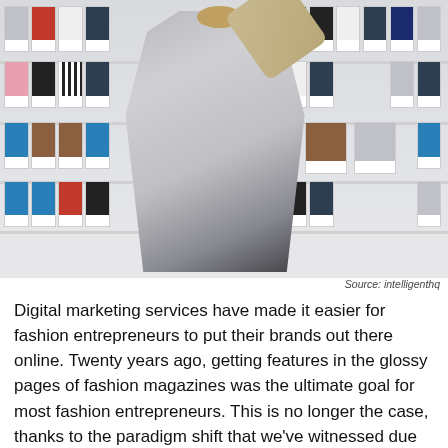[Figure (photo): A woman in a grey oversized top and black leggings stands with her back to the camera, reaching up to arrange model photos pinned on a large casting board/wall covered with rows of model headshots and full-length photos.]
Source: intelligenthq
Digital marketing services have made it easier for fashion entrepreneurs to put their brands out there online. Twenty years ago, getting features in the glossy pages of fashion magazines was the ultimate goal for most fashion entrepreneurs. This is no longer the case, thanks to the paradigm shift that we've witnessed due to the growth witnessed in the digital marketing scene.